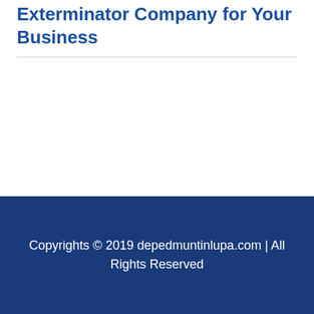Exterminator Company for Your Business
Copyrights © 2019 depedmuntinlupa.com | All Rights Reserved